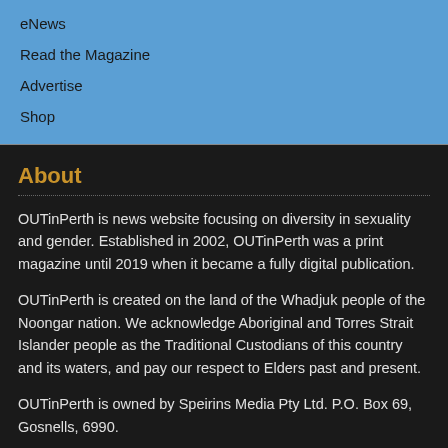eNews
Read the Magazine
Advertise
Shop
About
OUTinPerth is news website focusing on diversity in sexuality and gender. Established in 2002, OUTinPerth was a print magazine until 2019 when it became a fully digital publication.
OUTinPerth is created on the land of the Whadjuk people of the Noongar nation. We acknowledge Aboriginal and Torres Strait Islander people as the Traditional Custodians of this country and its waters, and pay our respect to Elders past and present.
OUTinPerth is owned by Speirins Media Pty Ltd. P.O. Box 69, Gosnells, 6990.
Search in Archive
Select a date